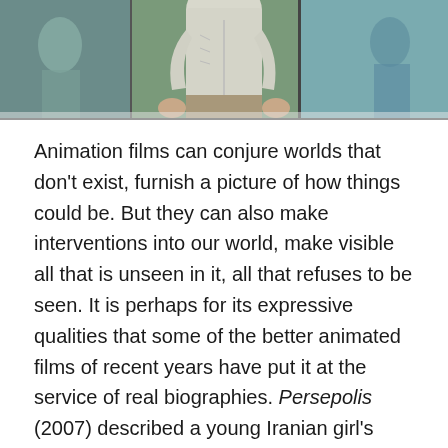[Figure (illustration): Animation still showing a figure in a light grey shirt, cropped at the waist, with stylized illustrated background figures and colored panels in greens and blues.]
Animation films can conjure worlds that don't exist, furnish a picture of how things could be. But they can also make interventions into our world, make visible all that is unseen in it, all that refuses to be seen. It is perhaps for its expressive qualities that some of the better animated films of recent years have put it at the service of real biographies. Persepolis (2007) described a young Iranian girl's search for identity in Europe. In Ari Folman's Waltz with Bashir (2008), an army veteran struggles with the memories of the 1982 Lebanon War. In Danish filmmaker Jonas Poher Rasmussen's new work Flee (2021), a refugee gathers courage to recount his painful journey from Afghanistan. The film has been nominated for the